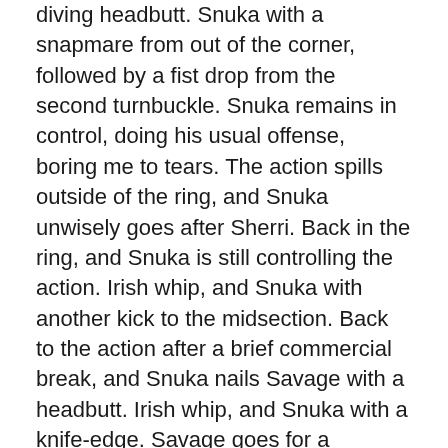diving headbutt. Snuka with a snapmare from out of the corner, followed by a fist drop from the second turnbuckle. Snuka remains in control, doing his usual offense, boring me to tears. The action spills outside of the ring, and Snuka unwisely goes after Sherri. Back in the ring, and Snuka is still controlling the action. Irish whip, and Snuka with another kick to the midsection. Back to the action after a brief commercial break, and Snuka nails Savage with a headbutt. Irish whip, and Snuka with a knife-edge. Savage goes for a piledriver, but Snuka blocks and back drops free. Snuka heads to the top rope, and he connects with a double chop to the neck. Sherri has the referee distracted long enough that Savage was able to kick out of a pinfall attempt. Savage nails Snuka with a running high knee, and the referee gets taken out in the process. Savage heads to the top rope, and comes off into a fist from the Superfly. Snuka with a scoop slam, then he heads to the top rope for a headbutt. Sherri gets in the ring, but Snuka sets his attentions to her. Savage accidentally nails Sherri with a